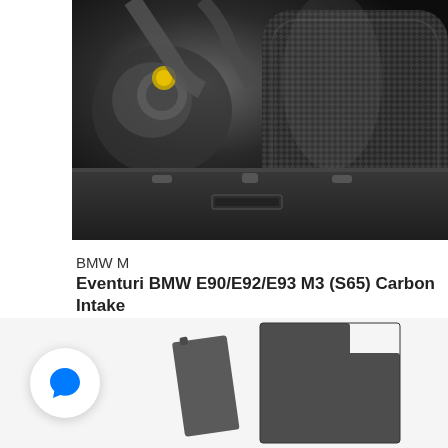[Figure (photo): Black and white close-up photo of a BMW M3 engine bay showing a carbon fiber intake pipe/filter assembly and engine components]
BMW M
Eventuri BMW E90/E92/E93 M3 (S65) Carbon Intake
$965.00
[Figure (photo): Product photo showing dark grey/charcoal carbon intake components/panels on a light background, with a blue chat bubble button overlay in the bottom left]